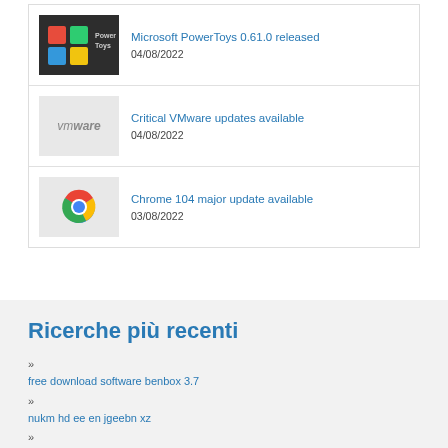[Figure (screenshot): PowerToys logo on dark background]
Microsoft PowerToys 0.61.0 released
04/08/2022
[Figure (logo): VMware logo on light gray background]
Critical VMware updates available
04/08/2022
[Figure (logo): Chrome logo on light gray background]
Chrome 104 major update available
03/08/2022
Ricerche più recenti
» free download software benbox 3.7
» nukm hd ee en jgeebn xz
» active client downlaod